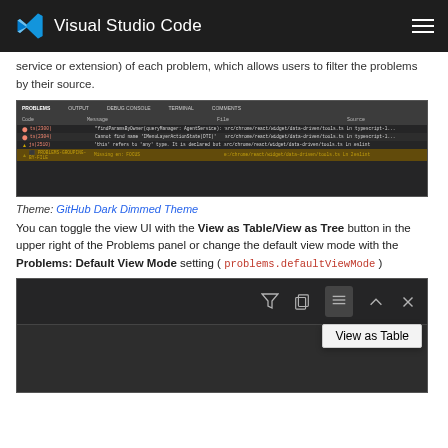Visual Studio Code
service or extension) of each problem, which allows users to filter the problems by their source.
[Figure (screenshot): Visual Studio Code Problems panel showing a table view with columns Code, Message, File, and Source, listing several TypeScript errors and warnings.]
Theme: GitHub Dark Dimmed Theme
You can toggle the view UI with the View as Table/View as Tree button in the upper right of the Problems panel or change the default view mode with the Problems: Default View Mode setting ( problems.defaultViewMode )
[Figure (screenshot): Visual Studio Code Problems panel toolbar showing filter icon, copy icon, an active list/table toggle button (highlighted), up arrow, and close buttons, with a 'View as Table' tooltip visible.]